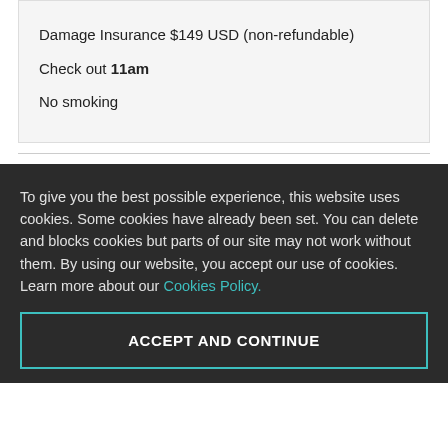Damage Insurance $149 USD (non-refundable)
Check out 11am
No smoking
To give you the best possible experience, this website uses cookies. Some cookies have already been set. You can delete and blocks cookies but parts of our site may not work without them. By using our website, you accept our use of cookies. Learn more about our Cookies Policy.
ACCEPT AND CONTINUE